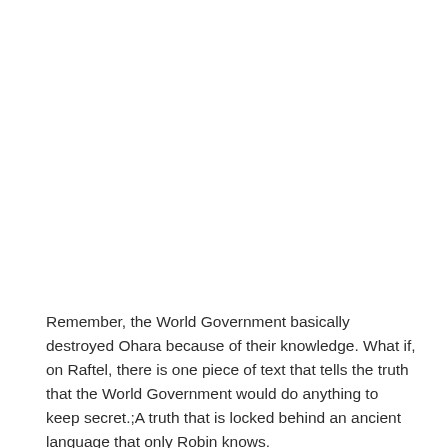Remember, the World Government basically destroyed Ohara because of their knowledge. What if, on Raftel, there is one piece of text that tells the truth that the World Government would do anything to keep secret.;A truth that is locked behind an ancient language that only Robin knows.